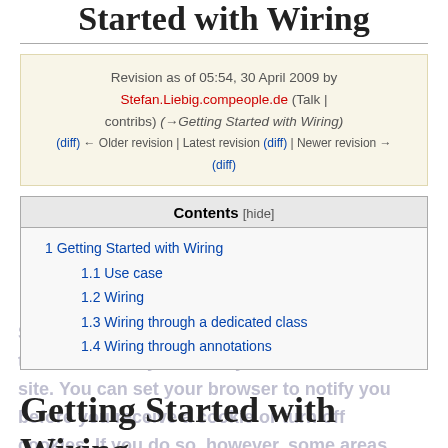Started with Wiring
Revision as of 05:54, 30 April 2009 by Stefan.Liebig.compeople.de (Talk | contribs) (→Getting Started with Wiring)
(diff) ← Older revision | Latest revision (diff) | Newer revision → (diff)
| Contents [hide] |
| --- |
| 1 Getting Started with Wiring |
| 1.1 Use case |
| 1.2 Wiring |
| 1.3 Wiring through a dedicated class |
| 1.4 Wiring through annotations |
Getting Started with Wiring